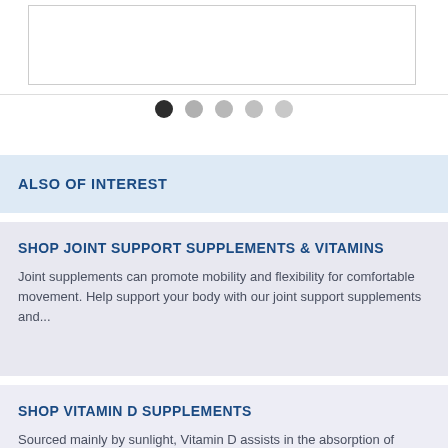[Figure (other): White image/product carousel box with border]
[Figure (other): Carousel pagination dots: one dark dot followed by four lighter grey dots]
ALSO OF INTEREST
SHOP JOINT SUPPORT SUPPLEMENTS & VITAMINS
Joint supplements can promote mobility and flexibility for comfortable movement. Help support your body with our joint support supplements and...
SHOP VITAMIN D SUPPLEMENTS
Sourced mainly by sunlight, Vitamin D assists in the absorption of Calcium & helps maintain healthy bones. Brighten your day &